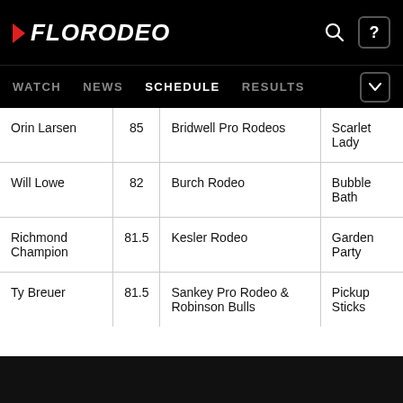FLORODEO — WATCH  NEWS  SCHEDULE  RESULTS
| Orin Larsen | 85 | Bridwell Pro Rodeos | Scarlet Lady |
| Will Lowe | 82 | Burch Rodeo | Bubble Bath |
| Richmond Champion | 81.5 | Kesler Rodeo | Garden Party |
| Ty Breuer | 81.5 | Sankey Pro Rodeo & Robinson Bulls | Pickup Sticks |